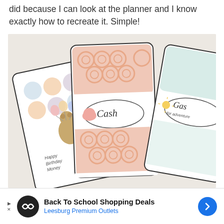did because I can look at the planner and I know exactly how to recreate it. Simple!
[Figure (photo): Three decorative cash envelope cards fanned out on a light background with twigs and pencils. Left card has pastel polka dots and a teddy bear with balloons labeled 'Happy Birthday Money'. Center card has a pink circle pattern with a piggy bank labeled 'Cash'. Right card has a similar pattern labeled 'Gas for adventure'.]
[Figure (infographic): Advertisement banner: 'Back To School Shopping Deals' from Leesburg Premium Outlets with logo icons.]